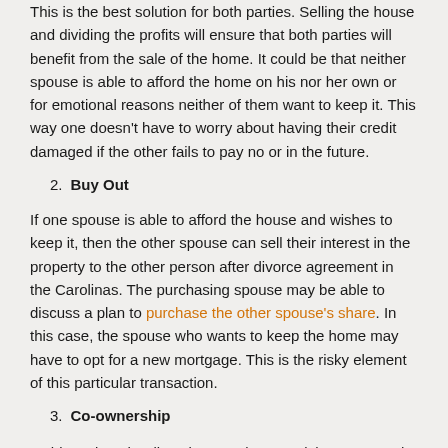This is the best solution for both parties. Selling the house and dividing the profits will ensure that both parties will benefit from the sale of the home. It could be that neither spouse is able to afford the home on his nor her own or for emotional reasons neither of them want to keep it. This way one doesn't have to worry about having their credit damaged if the other fails to pay no or in the future.
2. Buy Out
If one spouse is able to afford the house and wishes to keep it, then the other spouse can sell their interest in the property to the other person after divorce agreement in the Carolinas. The purchasing spouse may be able to discuss a plan to purchase the other spouse's share. In this case, the spouse who wants to keep the home may have to opt for a new mortgage. This is the risky element of this particular transaction.
3. Co-ownership
In this option, the divorcing couple may wish to co-own the home. Many people vie for this decision when children are involved.